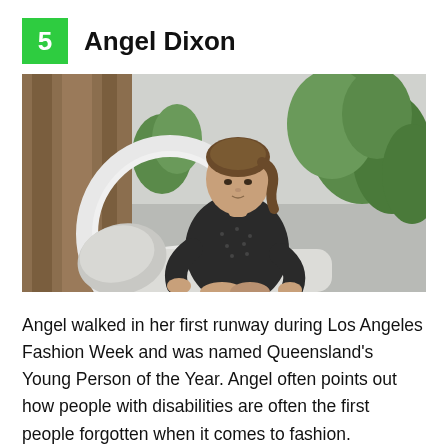5  Angel Dixon
[Figure (photo): A young woman with brown hair pulled back, wearing a dark floral/patterned long-sleeve dress, seated on a white wicker/rattan chair with white cushions. Green leafy plants and a light-coloured fence are visible in the background. The photo is taken outdoors.]
Angel walked in her first runway during Los Angeles Fashion Week and was named Queensland's Young Person of the Year. Angel often points out how people with disabilities are often the first people forgotten when it comes to fashion.